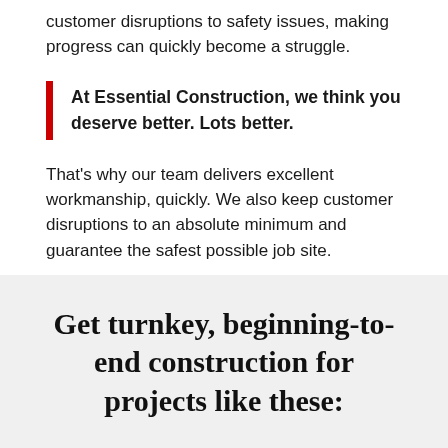customer disruptions to safety issues, making progress can quickly become a struggle.
At Essential Construction, we think you deserve better. Lots better.
That's why our team delivers excellent workmanship, quickly. We also keep customer disruptions to an absolute minimum and guarantee the safest possible job site.
Get turnkey, beginning-to-end construction for projects like these: